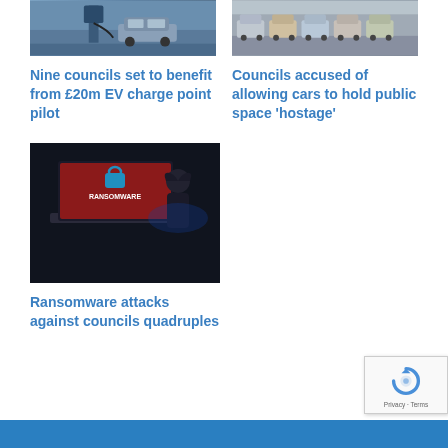[Figure (photo): EV charge point photo showing electric vehicle charging infrastructure]
Nine councils set to benefit from £20m EV charge point pilot
[Figure (photo): Row of parked cars on a street, aerial or street-level view]
Councils accused of allowing cars to hold public space ‘hostage’
[Figure (photo): Ransomware attack image showing laptop screen with RANSOMWARE text and a person with head in hands]
Ransomware attacks against councils quadruples
[Figure (other): Blue banner bar at bottom of page]
[Figure (other): reCAPTCHA badge with Privacy and Terms text]